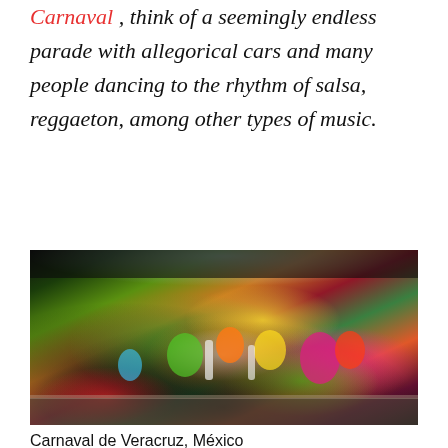Carnaval, think of a seemingly endless parade with allegorical cars and many people dancing to the rhythm of salsa, reggaeton, among other types of music.
[Figure (photo): A colorful carnival parade in Veracruz, Mexico, with performers in bright costumes dancing in the street surrounded by large crowds of spectators.]
Carnaval de Veracruz, México